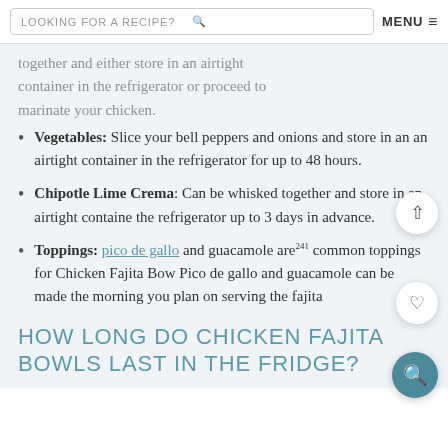LOOKING FOR A RECIPE?  MENU
together and either store in an airtight container in the refrigerator or proceed to marinate your chicken.
Vegetables: Slice your bell peppers and onions and store in an an airtight container in the refrigerator for up to 48 hours.
Chipotle Lime Crema: Can be whisked together and store in an airtight container the refrigerator up to 3 days in advance.
Toppings: pico de gallo and guacamole are common toppings for Chicken Fajita Bowls. Pico de gallo and guacamole can be made the morning you plan on serving the fajitas.
HOW LONG DO CHICKEN FAJITA BOWLS LAST IN THE FRIDGE?